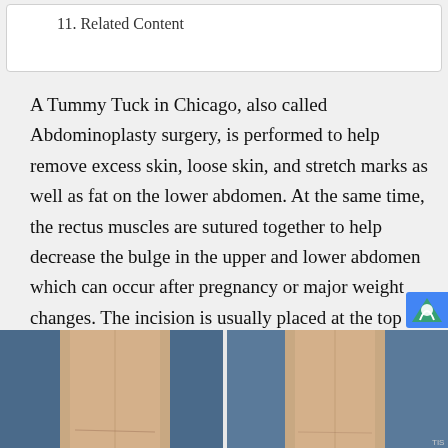11. Related Content
A Tummy Tuck in Chicago, also called Abdominoplasty surgery, is performed to help remove excess skin, loose skin, and stretch marks as well as fat on the lower abdomen. At the same time, the rectus muscles are sutured together to help decrease the bulge in the upper and lower abdomen which can occur after pregnancy or major weight changes. The incision is usually placed at the top of the pubic hair and runs underneath most underwear and swimsuits.
[Figure (photo): Before and after photos showing abdominal area results of tummy tuck surgery]